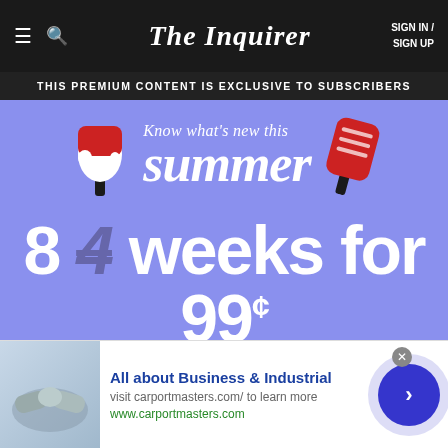The Inquirer | SIGN IN / SIGN UP
THIS PREMIUM CONTENT IS EXCLUSIVE TO SUBSCRIBERS
[Figure (infographic): Summer subscription promotion with popsicle graphics. Text reads: Know what's new this summer. 8 (strikethrough 4) weeks for 99¢]
To continue reading, take advantage of this exclusive offer for unlimited access to Inquirer.com and more.
[Figure (infographic): Advertisement banner: All about Business & Industrial. Visit carportmasters.com/ to learn more. www.carportmasters.com. Shows handshake photo and arrow button.]